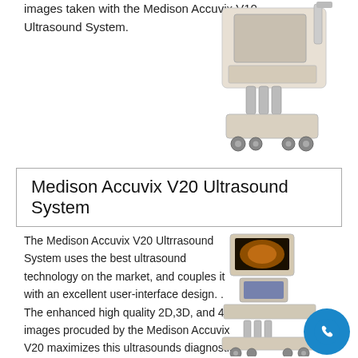images taken with the Medison Accuvix V10 Ultrasound System.
[Figure (photo): Medison Accuvix V10 Ultrasound System machine on wheels]
Medison Accuvix V20 Ultrasound System
The Medison Accuvix V20 Ultrrasound System uses the best ultrasound technology on the market, and couples it with an excellent user-interface design. . The enhanced high quality 2D,3D, and 4D images procuded by the Medison Accuvix V20 maximizes this ultrasounds diagnostic accuracy,
[Figure (photo): Medison Accuvix V20 Ultrasound System machine on wheels with screen showing 3D ultrasound image]